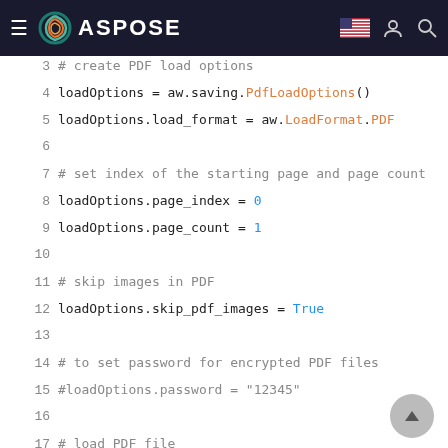ASPOSE
[Figure (screenshot): Python code snippet showing PDF load options configuration using Aspose Words library, lines 3-20]
3  # create PDF load options
4  loadOptions = aw.saving.PdfLoadOptions()
5  loadOptions.load_format = aw.LoadFormat.PDF
6
7  # set index of the starting page and page count
8  loadOptions.page_index = 0
9  loadOptions.page_count = 1
10
11  # skip images in PDF
12  loadOptions.skip_pdf_images = True
13
14  # to set password for encrypted PDF files
15  #loadOptions.password = "12345"
16
17  # load PDF file
18  doc = aw.Document("PDF.pdf", loadOptions)
19
20  # convert PDF to Word